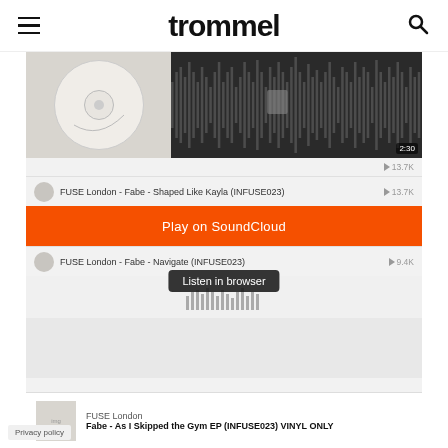trommel
[Figure (screenshot): SoundCloud embedded player showing FUSE London tracks including 'Fabe - Shaped Like Kayla (INFUSE023)' and 'Fabe - Navigate (INFUSE023)' with an orange 'Play on SoundCloud' button and a 'Listen in browser' tooltip overlay. Below is album info: FUSE London - Fabe - As I Skipped the Gym EP (INFUSE023) VINYL ONLY]
FUSE London - Fabe - Shaped Like Kayla (INFUSE023) ▶ 13.7K
Play on SoundCloud
FUSE London - Fabe - Navigate (INFUSE023) ▶ 9.4K
Listen in browser
FUSE London
Fabe - As I Skipped the Gym EP (INFUSE023) VINYL ONLY
Privacy policy